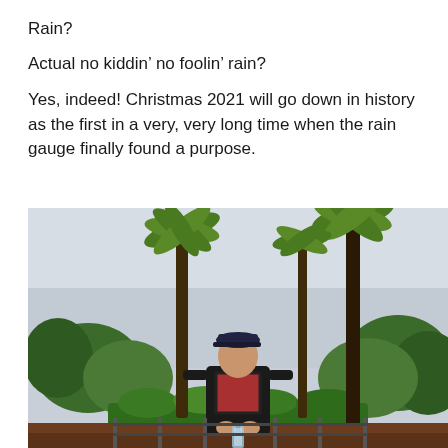Rain?
Actual no kiddin’ no foolin’ rain?
Yes, indeed! Christmas 2021 will go down in history as the first in a very, very long time when the rain gauge finally found a purpose.
[Figure (photo): An older man wearing a dark jacket, plaid shirt, and baseball cap stands outdoors in front of tall palm trees and green shrubs under a cloudy sky, holding what appears to be a rain gauge.]